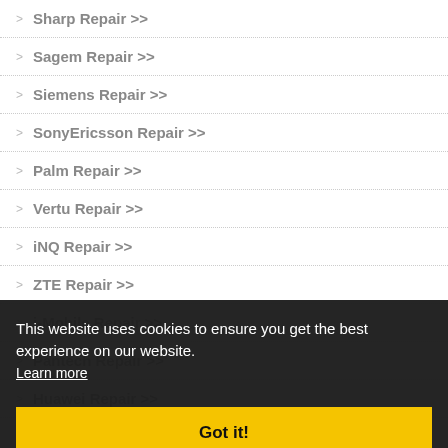Sharp Repair >>
Sagem Repair >>
Siemens Repair >>
SonyEricsson Repair >>
Palm Repair >>
Vertu Repair >>
iNQ Repair >>
ZTE Repair >>
i-Mobile Repair >>
Pantech Repair >>
Huawei Repair >>
Nec Repair >>
BenQ Repair >>
Toshiba Repair >>
Philips Repair >>
This website uses cookies to ensure you get the best experience on our website. Learn more
Got it!